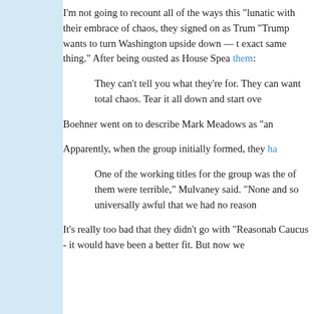I'm not going to recount all of the ways this "lunatic with their embrace of chaos, they signed on as Trum "Trump wants to turn Washington upside down — t exact same thing." After being ousted as House Spea them:
They can't tell you what they're for. They can want total chaos. Tear it all down and start ove
Boehner went on to describe Mark Meadows as "an
Apparently, when the group initially formed, they ha
One of the working titles for the group was the of them were terrible," Mulvaney said. "None and so universally awful that we had no reason
It's really too bad that they didn't go with "Reasonab Caucus - it would have been a better fit. But now we